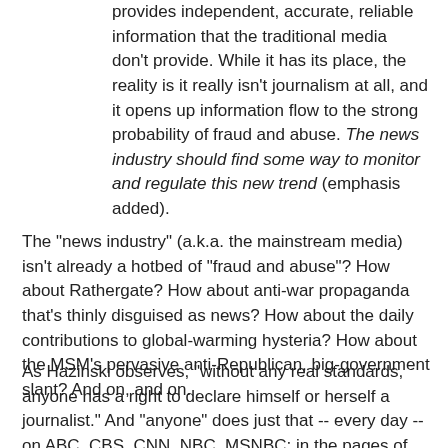provides independent, accurate, reliable information that the traditional media don't provide. While it has its place, the reality is it really isn't journalism at all, and it opens up information flow to the strong probability of fraud and abuse. The news industry should find some way to monitor and regulate this new trend (emphasis added).
The "news industry" (a.k.a. the mainstream media) isn't already a hotbed of "fraud and abuse"? How about Rathergate? How about anti-war propaganda that's thinly disguised as news? How about the daily contributions to global-warming hysteria? How about the MSM's pervasive anti-Republican, big-government slant? And on, and on.
As Hazinski observes, "without any real standards, anyone has a right to declare himself or herself a journalist." And "anyone" does just that -- every day -- on ABC, CBS, CNN, NBC, MSNBC; in the pages of The New York Times, The Washington Post, Newsweek; etc., etc., etc.